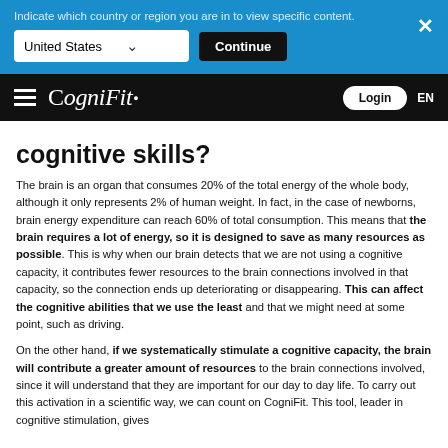Indicate which country or region you are in to view specific content.
[Figure (screenshot): CogniFit website navigation bar with hamburger menu, CogniFit logo, Login button, and EN language selector on black background]
cognitive skills?
The brain is an organ that consumes 20% of the total energy of the whole body, although it only represents 2% of human weight. In fact, in the case of newborns, brain energy expenditure can reach 60% of total consumption. This means that the brain requires a lot of energy, so it is designed to save as many resources as possible. This is why when our brain detects that we are not using a cognitive capacity, it contributes fewer resources to the brain connections involved in that capacity, so the connection ends up deteriorating or disappearing. This can affect the cognitive abilities that we use the least and that we might need at some point, such as driving.
On the other hand, if we systematically stimulate a cognitive capacity, the brain will contribute a greater amount of resources to the brain connections involved, since it will understand that they are important for our day to day life. To carry out this activation in a scientific way, we can count on CogniFit. This tool, leader in cognitive stimulation, gives